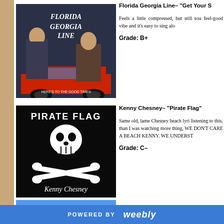Florida Georgia Line- "Get Your S"
[Figure (photo): Florida Georgia Line album cover 'Here's to the Good Times' showing two men standing by a red car with the band name in script overlay]
Feels a little compressed, but still sou feel-good vibe and it's easy to sing alo
Grade: B+
Kenny Chesney- "Pirate Flag"
[Figure (photo): Kenny Chesney Pirate Flag album cover with black background showing skull and crossbones with 'PIRATE FLAG' text and artist signature]
Same old, lame Chesney beach lyri listening to this, than I was watching more thing, WE DON'T CARE A BEACH KENNY. WE UNDERST
Grade: C-
POWERED BY weebly